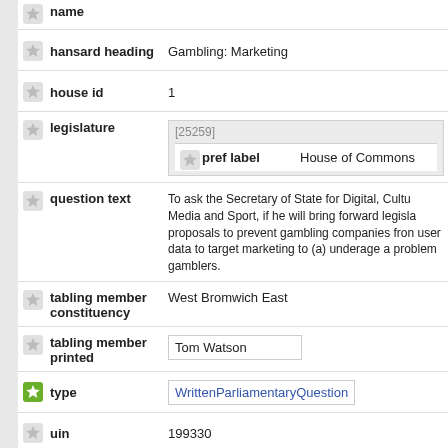name
| field | value |
| --- | --- |
| hansard heading | Gambling: Marketing |
| house id | 1 |
| legislature | [25259] pref label: House of Commons |
| question text | To ask the Secretary of State for Digital, Culture Media and Sport, if he will bring forward legislative proposals to prevent gambling companies from using user data to target marketing to (a) underage and (b) problem gamblers. |
| tabling member constituency | West Bromwich East |
| tabling member printed | Tom Watson |
| type | WrittenParliamentaryQuestion |
| uin | 199330 |
| answer | answer / is ministerial |